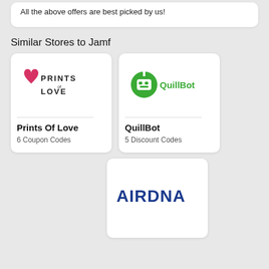All the above offers are best picked by us!
Similar Stores to Jamf
[Figure (logo): Prints of Love logo — pink heart and stylized text PRINTS OF LOVE]
Prints Of Love
6 Coupon Codes
[Figure (logo): QuillBot logo — green robot icon with QuillBot text in green]
QuillBot
5 Discount Codes
[Figure (logo): AirDNA logo — blue bold text AIRDNA]